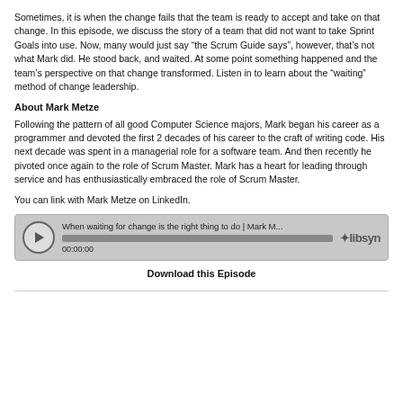Sometimes, it is when the change fails that the team is ready to accept and take on that change. In this episode, we discuss the story of a team that did not want to take Sprint Goals into use. Now, many would just say “the Scrum Guide says”, however, that’s not what Mark did. He stood back, and waited. At some point something happened and the team’s perspective on that change transformed. Listen in to learn about the “waiting” method of change leadership.
About Mark Metze
Following the pattern of all good Computer Science majors, Mark began his career as a programmer and devoted the first 2 decades of his career to the craft of writing code. His next decade was spent in a managerial role for a software team. And then recently he pivoted once again to the role of Scrum Master. Mark has a heart for leading through service and has enthusiastically embraced the role of Scrum Master.
You can link with Mark Metze on LinkedIn.
[Figure (other): Audio player widget showing episode: 'When waiting for change is the right thing to do | Mark M...' with play button, progress bar, timestamp 00:00:00, and Libsyn logo]
Download this Episode